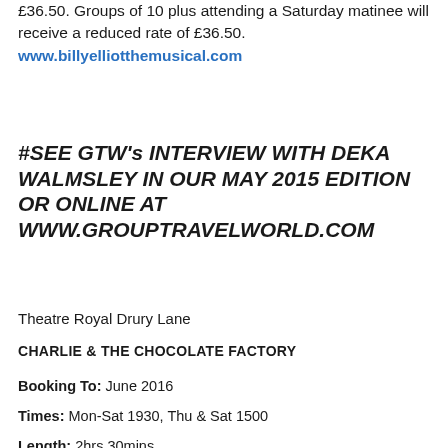£36.50. Groups of 10 plus attending a Saturday matinee will receive a reduced rate of £36.50. www.billyelliotthemusical.com
#SEE GTW's INTERVIEW WITH DEKA WALMSLEY IN OUR MAY 2015 EDITION OR ONLINE AT WWW.GROUPTRAVELWORLD.COM
Theatre Royal Drury Lane
CHARLIE & THE CHOCOLATE FACTORY
Booking To: June 2016
Times: Mon-Sat 1930, Thu & Sat 1500
Length: 2hrs 30mins